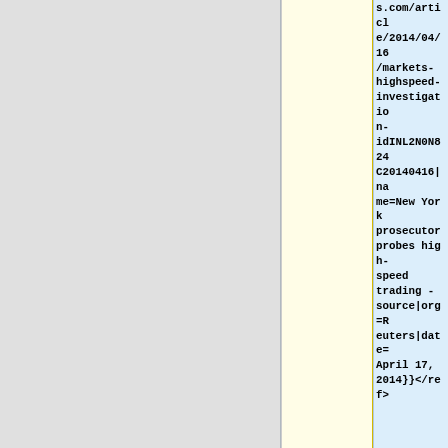|  | s.com/article/2014/04/16/markets-highspeed-investigation-idINL2N0N824C20140416|name=New York prosecutor probes high-speed trading - source|org=Reuters|date=April 17, 2014}}</ref> |
|  |  |
| Other areas of finance in which he | Other areas of finance in which he |